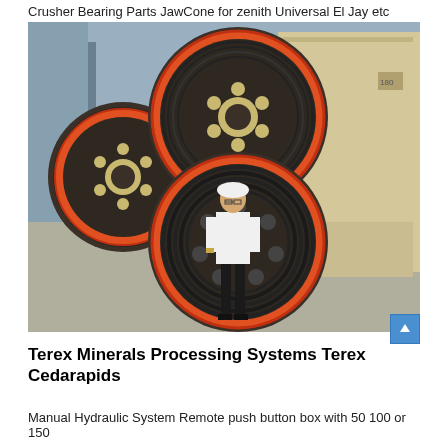Crusher Bearing Parts JawCone for zenith Universal El Jay etc
[Figure (photo): A man in a white hard hat and white shirt stands in an industrial facility in front of large crusher flywheel pulleys/wheels with red rims and black rubber belts. The machinery includes a large beige/cream colored jaw crusher in the background.]
Terex Minerals Processing Systems Terex Cedarapids
Manual Hydraulic System Remote push button box with 50 100 or 150